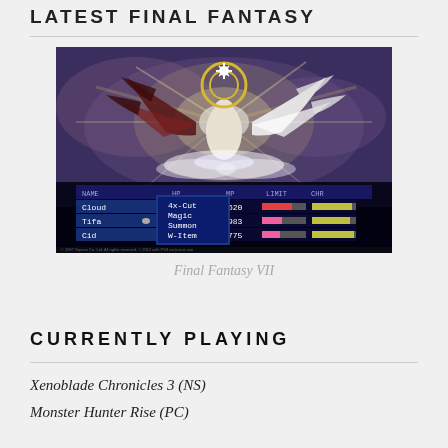LATEST FINAL FANTASY
[Figure (screenshot): Final Fantasy VII in-battle screenshot showing a white-winged boss character (Safer Sephiroth/Ultimate Weapon) with light radiating outward. Battle menu at bottom shows characters Cloud (HP 9999/9999, MP 620), Tifa (HP 9703/9999, MP 983), Cid (HP 9999/9999, MP 775) with menu options 4x-Cut, Magic, Summon, W-Item.]
Final Fantasy VII
CURRENTLY PLAYING
Xenoblade Chronicles 3 (NS)
Monster Hunter Rise (PC)